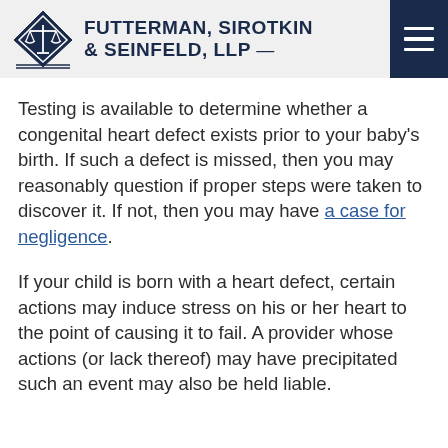FUTTERMAN, SIROTKIN & SEINFELD, LLP
Testing is available to determine whether a congenital heart defect exists prior to your baby's birth. If such a defect is missed, then you may reasonably question if proper steps were taken to discover it. If not, then you may have a case for negligence.
If your child is born with a heart defect, certain actions may induce stress on his or her heart to the point of causing it to fail. A provider whose actions (or lack thereof) may have precipitated such an event may also be held liable.